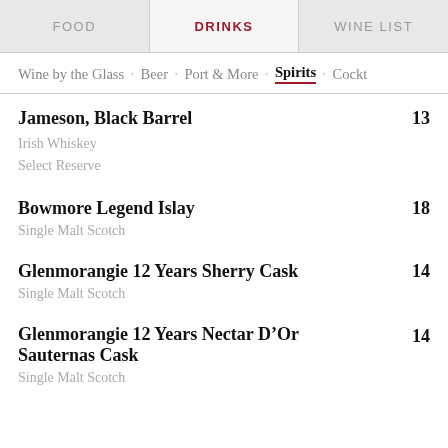FOOD  DRINKS  WINE LIST
Wine by the Glass · Beer · Port & More · Spirits · Cockts
Jameson, Black Barrel — 13
Irish Whiskey
Select Reserve
Bowmore Legend Islay — 18
Single Malt Scotch
Glenmorangie 12 Years Sherry Cask — 14
Single Malt Scotch
Glenmorangie 12 Years Nectar D'Or Sauternas Cask — 14
Single Malt Scotch